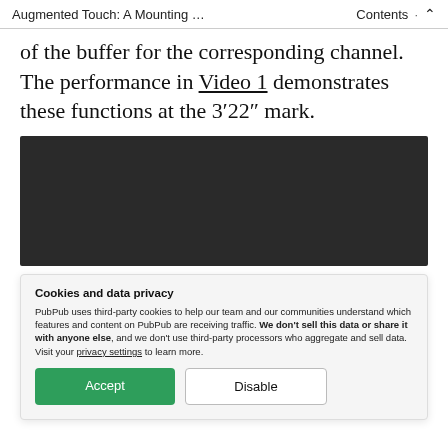Augmented Touch: A Mounting … | Contents
of the buffer for the corresponding channel. The performance in Video 1 demonstrates these functions at the 3′22″ mark.
[Figure (screenshot): Dark video player thumbnail/embed area]
Cookies and data privacy
PubPub uses third-party cookies to help our team and our communities understand which features and content on PubPub are receiving traffic. We don't sell this data or share it with anyone else, and we don't use third-party processors who aggregate and sell data. Visit your privacy settings to learn more.